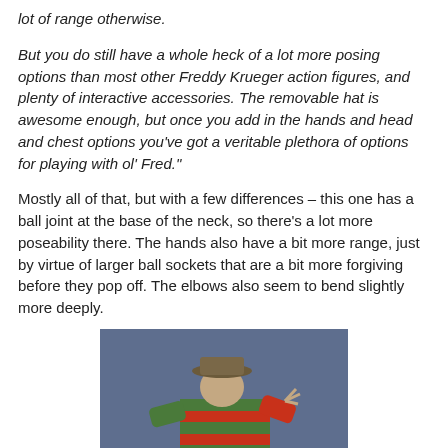lot of range otherwise.
But you do still have a whole heck of a lot more posing options than most other Freddy Krueger action figures, and plenty of interactive accessories. The removable hat is awesome enough, but once you add in the hands and head and chest options you've got a veritable plethora of options for playing with ol' Fred."
Mostly all of that, but with a few differences – this one has a ball joint at the base of the neck, so there's a lot more poseability there. The hands also have a bit more range, just by virtue of larger ball sockets that are a bit more forgiving before they pop off. The elbows also seem to bend slightly more deeply.
[Figure (photo): A Freddy Krueger action figure wearing the iconic striped sweater and brown fedora hat, posed against a blue-grey background, bending forward with claw hand raised.]